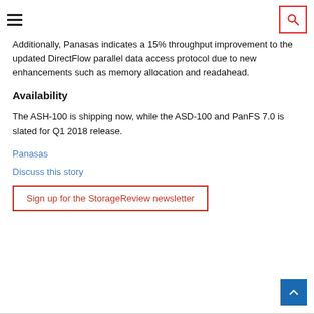Additionally, Panasas indicates a 15% throughput improvement to the updated DirectFlow parallel data access protocol due to new enhancements such as memory allocation and readahead.
Availability
The ASH-100 is shipping now, while the ASD-100 and PanFS 7.0 is slated for Q1 2018 release.
Panasas
Discuss this story
Sign up for the StorageReview newsletter